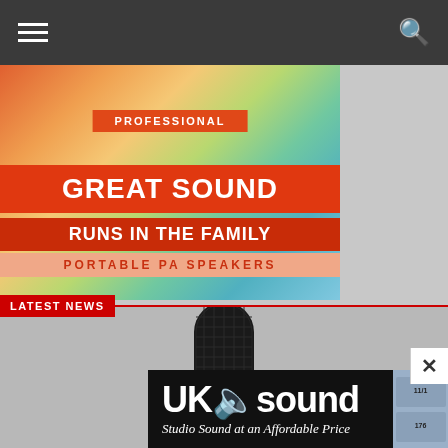Navigation bar with hamburger menu and search icon
[Figure (illustration): Advertisement banner for Professional Portable PA Speakers. Colorful gradient background (orange to teal). Text reads: PROFESSIONAL / GREAT SOUND / RUNS IN THE FAMILY / PORTABLE PA SPEAKERS]
LATEST NEWS
[Figure (photo): Close-up photo of a large diaphragm studio condenser microphone, black, on grey background]
[Figure (illustration): UK Sound advertisement. Black background with white text logo 'UKsound' and tagline 'Studio Sound at an Affordable Price'. Right side shows audio equipment panels.]
By Ben